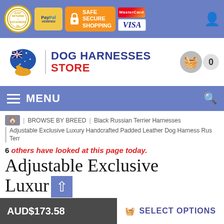SAFE SECURE SHOPPING — PayPal Verified, MasterCard, VISA, Easy Returns & Exchanges
[Figure (logo): Dog Harnesses Store logo with Australian map and dog silhouette]
MENU
BROWSE BY BREED | Black Russian Terrier Harnesses | Adjustable Exclusive Luxury Handcrafted Padded Leather Dog Harness Rus Terr
6 others have looked at this page today.
Adjustable Exclusive Luxury Handcrafted Padded Leather
AUD$173.58  SELECT OPTIONS